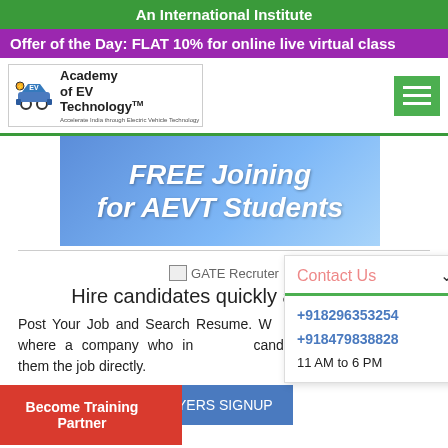An International Institute
Offer of the Day: FLAT 10% for online live virtual class
[Figure (logo): Academy of EV Technology logo with EV car icon and tagline]
[Figure (infographic): Blue gradient banner with text: FREE Joining for AEVT Students]
[Figure (other): GATE Recruter image placeholder]
Hire candidates quickly and easily.
Post Your Job and Search Resume. We Direct Hire, where a company who interviews candidate offers them the job directly.
EMPLOYERS SIGNUP
Become Training Partner
Contact Us
+918296353254
+918479838828
11 AM to 6 PM